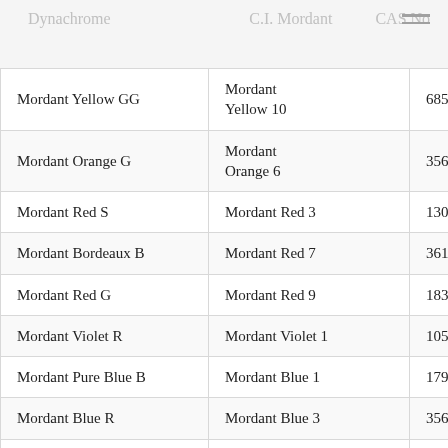Dynachrome | C.I. Mordant | CAS No
| Dynachrome | C.I. Mordant | CAS No |
| --- | --- | --- |
| Mordant Yellow GG | Mordant Yellow 10 | 6854-99-5 |
| Mordant Orange G | Mordant Orange 6 | 3564-27-0 |
| Mordant Red S | Mordant Red 3 | 130-22-3 |
| Mordant Bordeaux B | Mordant Red 7 | 3618-63-1 |
| Mordant Red G | Mordant Red 9 | 1839-22-2 |
| Mordant Violet R | Mordant Violet 1 | 1058-92-0 |
| Mordant Pure Blue B | Mordant Blue 1 | 1796-92-5 |
| Mordant Blue R | Mordant Blue 3 | 3564-18-9 |
| Mordant Navy Blue |  |  |